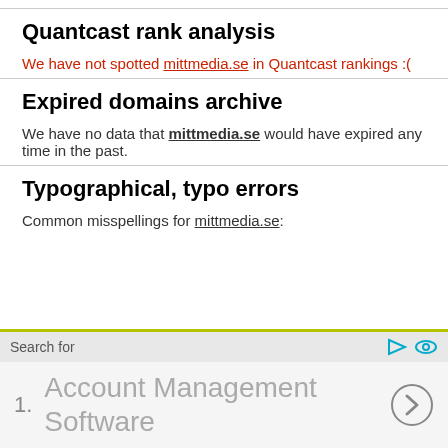Quantcast rank analysis
We have not spotted mittmedia.se in Quantcast rankings :(
Expired domains archive
We have no data that mittmedia.se would have expired any time in the past.
Typographical, typo errors
Common misspellings for mittmedia.se:
Search for
1. Account Management Software